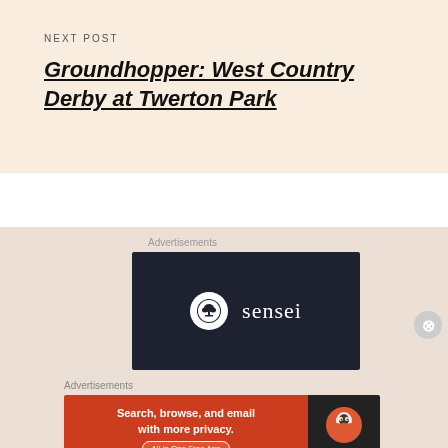NEXT POST
Groundhopper: West Country Derby at Twerton Park
Advertisements
[Figure (logo): Sensei logo on dark navy background — white circle with bonsai tree icon and 'sensei' text in white]
Advertisements
[Figure (screenshot): DuckDuckGo advertisement: 'Search, browse, and email with more privacy. All in One Free App' on orange background with DuckDuckGo duck logo on dark right panel]